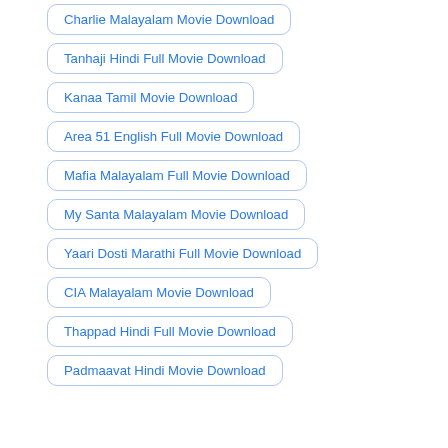Charlie Malayalam Movie Download
Tanhaji Hindi Full Movie Download
Kanaa Tamil Movie Download
Area 51 English Full Movie Download
Mafia Malayalam Full Movie Download
My Santa Malayalam Movie Download
Yaari Dosti Marathi Full Movie Download
CIA Malayalam Movie Download
Thappad Hindi Full Movie Download
Padmaavat Hindi Movie Download